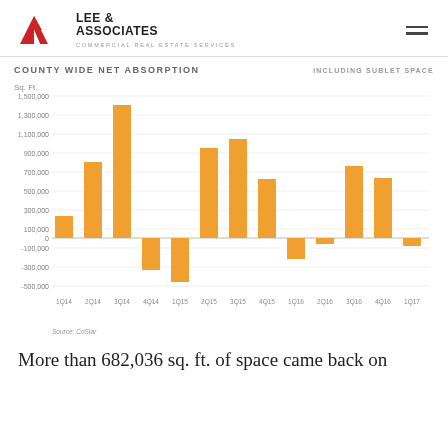[Figure (logo): Lee & Associates Commercial Real Estate Services logo with red arrow mark]
[Figure (bar-chart): COUNTY WIDE NET ABSORPTION]
Source: CoStar
More than 682,036 sq. ft. of space came back on